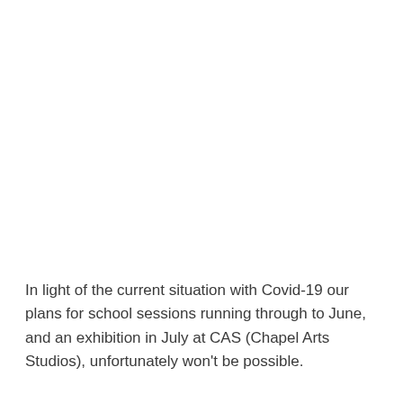In light of the current situation with Covid-19 our plans for school sessions running through to June, and an exhibition in July at CAS (Chapel Arts Studios), unfortunately won't be possible.